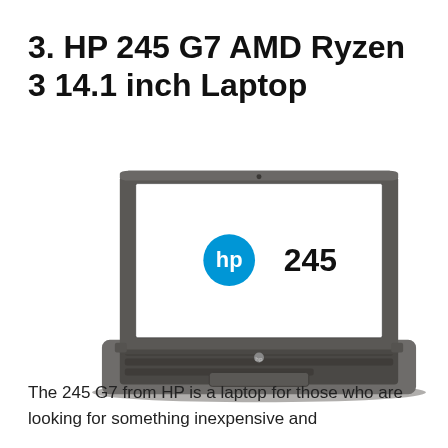3. HP 245 G7 AMD Ryzen 3 14.1 inch Laptop
[Figure (photo): HP 245 G7 laptop open, showing the HP 245 logo on the white screen, with a dark grey body and keyboard visible from a slight angle.]
The 245 G7 from HP is a laptop for those who are looking for something inexpensive and...